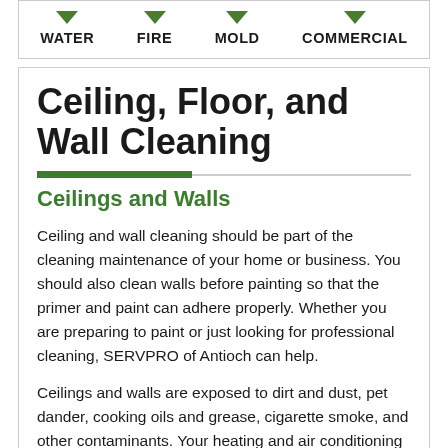WATER  FIRE  MOLD  COMMERCIAL
Ceiling, Floor, and Wall Cleaning
Ceilings and Walls
Ceiling and wall cleaning should be part of the cleaning maintenance of your home or business. You should also clean walls before painting so that the primer and paint can adhere properly. Whether you are preparing to paint or just looking for professional cleaning, SERVPRO of Antioch can help.
Ceilings and walls are exposed to dirt and dust, pet dander, cooking oils and grease, cigarette smoke, and other contaminants. Your heating and air conditioning system can distribute these contaminants throughout your property. Learn more about air duct and HVAC cleaning.
Using SERVPRO's time-tested and industry-approved steps